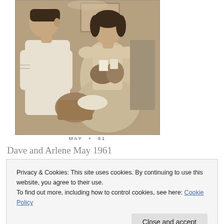[Figure (photo): Vintage sepia/black-and-white photograph of a man and a woman (Dave and Arlene), taken in May 1961. The woman is wearing a light dress and holding items; the man is in a white short-sleeved shirt. Indoor setting.]
MAY + 61
Dave and Arlene May 1961
Privacy & Cookies: This site uses cookies. By continuing to use this website, you agree to their use.
To find out more, including how to control cookies, see here: Cookie Policy
were always there for each other and for their children.